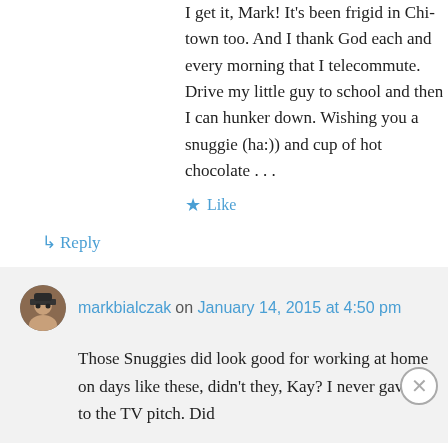I get it, Mark! It's been frigid in Chi-town too. And I thank God each and every morning that I telecommute. Drive my little guy to school and then I can hunker down. Wishing you a snuggie (ha:)) and cup of hot chocolate . . .
★ Like
↳ Reply
markbialczak on January 14, 2015 at 4:50 pm
Those Snuggies did look good for working at home on days like these, didn't they, Kay? I never gave in to the TV pitch. Did
Advertisements
[Figure (illustration): Macy's advertisement banner with red background showing a woman's face with lips highlighted, text 'KISS BORING LIPS GOODBYE' on left, 'SHOP NOW' button and Macy's logo on right]